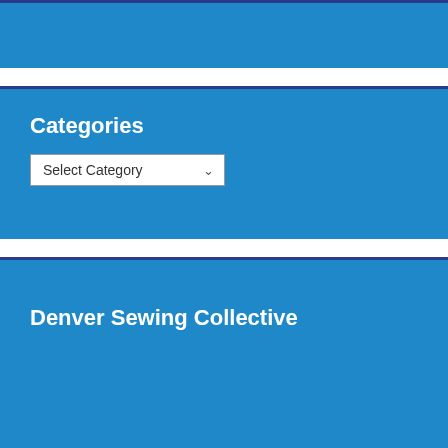[Figure (screenshot): Top blue banner section of a website sidebar widget, partially cut off at top]
Categories
Select Category
Denver Sewing Collective